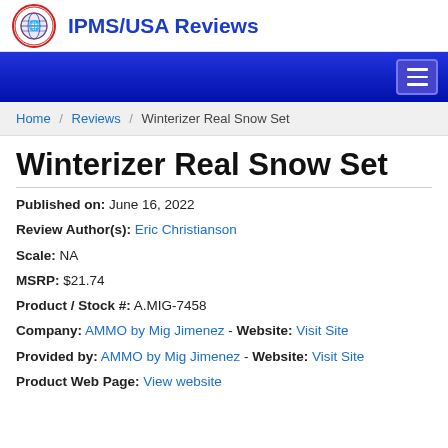IPMS/USA Reviews
Home / Reviews / Winterizer Real Snow Set
Winterizer Real Snow Set
Published on: June 16, 2022
Review Author(s): Eric Christianson
Scale: NA
MSRP: $21.74
Product / Stock #: A.MIG-7458
Company: AMMO by Mig Jimenez - Website: Visit Site
Provided by: AMMO by Mig Jimenez - Website: Visit Site
Product Web Page: View website